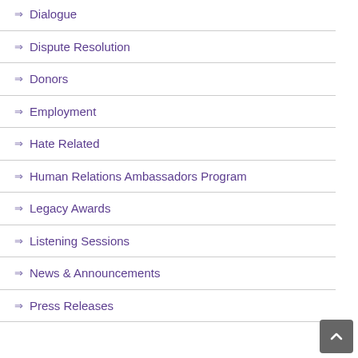→ Dialogue
→ Dispute Resolution
→ Donors
→ Employment
→ Hate Related
→ Human Relations Ambassadors Program
→ Legacy Awards
→ Listening Sessions
→ News & Announcements
→ Press Releases